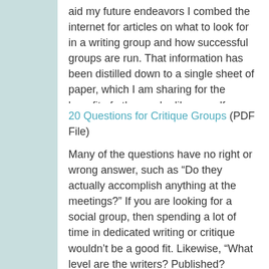aid my future endeavors I combed the internet for articles on what to look for in a writing group and how successful groups are run. That information has been distilled down to a single sheet of paper, which I am sharing for the benefit of others, who like myself, are seeking a better writing group.
20 Questions for Critique Groups (PDF File)
Many of the questions have no right or wrong answer, such as “Do they actually accomplish anything at the meetings?”  If you are looking for a social group, then spending a lot of time in dedicated writing or critique wouldn’t be a good fit. Likewise, “What level are the writers? Published? Unpublished? Mixed levels?” has no right answer either. If you’ve never been published, you may feel intimidated sitting among people who have already got a couple published novels under their belts and